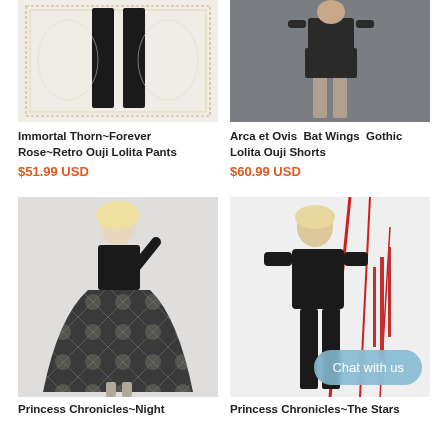[Figure (photo): Black wide-leg pants on white background with decorative border design]
[Figure (photo): Person wearing black Gothic Lolita Ouji shorts with bat wings design, outdoors]
Immortal Thorn~Forever Rose~Retro Ouji Lolita Pants
$51.99 USD
Arca et Ovis  Bat Wings  Gothic Lolita Ouji Shorts
$60.99 USD
[Figure (photo): Blonde model wearing black sleeveless top with printed wide skirt, gothic style]
[Figure (photo): Blonde model wearing all-black outfit with red ribbon decorations in background, Chat with us button overlay]
Princess Chronicles~Night
Princess Chronicles~The Stars